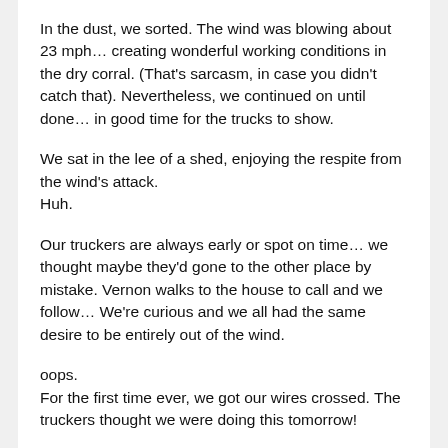In the dust, we sorted. The wind was blowing about 23 mph… creating wonderful working conditions in the dry corral. (That's sarcasm, in case you didn't catch that). Nevertheless, we continued on until done… in good time for the trucks to show.
We sat in the lee of a shed, enjoying the respite from the wind's attack.
Huh.
Our truckers are always early or spot on time… we thought maybe they'd gone to the other place by mistake. Vernon walks to the house to call and we follow… We're curious and we all had the same desire to be entirely out of the wind.
oops.
For the first time ever, we got our wires crossed. The truckers thought we were doing this tomorrow!
Well, nothing to do but turn the cows and calves out and trail them to the small hay lot. We'll do it all over again